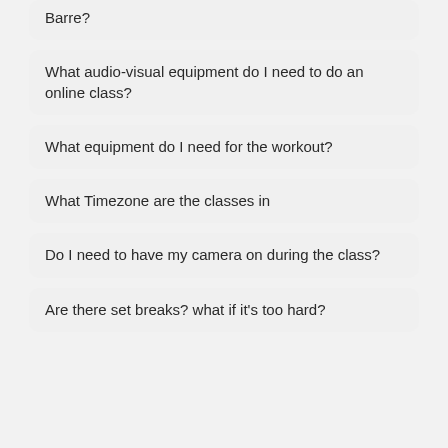Barre?
What audio-visual equipment do I need to do an online class?
What equipment do I need for the workout?
What Timezone are the classes in
Do I need to have my camera on during the class?
Are there set breaks? what if it's too hard?